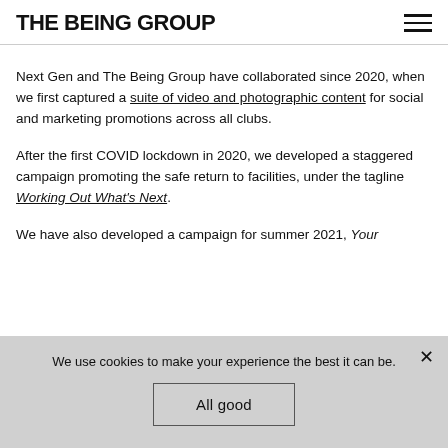THE BEING GROUP
Next Gen and The Being Group have collaborated since 2020, when we first captured a suite of video and photographic content for social and marketing promotions across all clubs.
After the first COVID lockdown in 2020, we developed a staggered campaign promoting the safe return to facilities, under the tagline Working Out What's Next.
We have also developed a campaign for summer 2021, Your
We use cookies to make your experience the best it can be.
All good